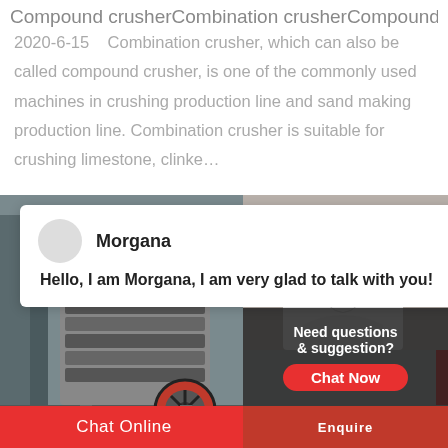Compound crusherCombination crusherCompound
2020-6-15    Combination crusher, which can also be called compound crusher, is one of the commonly used machines in crushing production line and sand making production line. Combination crusher is suitable for crushing limestone, clinke…
[Figure (screenshot): Screenshot of a webpage showing a chat popup with agent 'Morgana' saying 'Hello, I am Morgana, I am very glad to talk with you!' overlaid on an industrial compound/combination crusher machine image. Right side shows a customer service representative with a headset and a 'Need questions & suggestion? Chat Now' panel. Bottom has a red 'Chat Online' bar.]